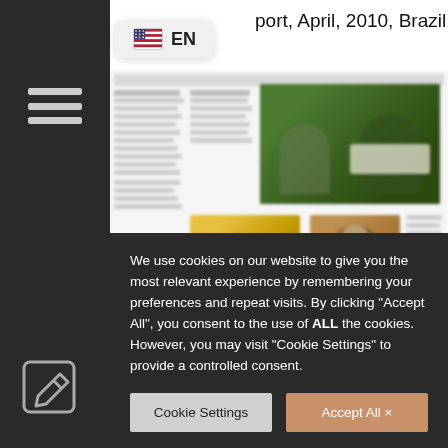port, April, 2010, Brazil
[Figure (screenshot): Blurred newspaper page preview showing multiple columns, images including people reading a newspaper, a yellow car, an arch/doorway, and small text columns. A red bar appears near the bottom.]
We use cookies on our website to give you the most relevant experience by remembering your preferences and repeat visits. By clicking "Accept All", you consent to the use of ALL the cookies. However, you may visit "Cookie Settings" to provide a controlled consent.
Cookie Settings
Accept All ×